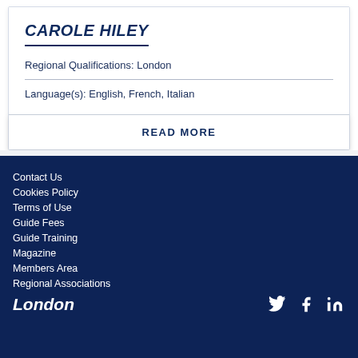CAROLE HILEY
Regional Qualifications: London
Language(s): English, French, Italian
READ MORE
Contact Us
Cookies Policy
Terms of Use
Guide Fees
Guide Training
Magazine
Members Area
Regional Associations
London